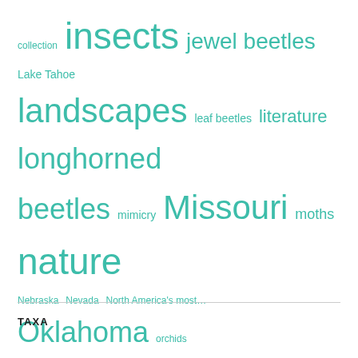[Figure (infographic): Tag cloud featuring science/nature topics in varying font sizes, all in teal/cyan color. Tags include: collection, insects, jewel beetles, Lake Tahoe, landscapes, leaf beetles, literature, longhorned, beetles, mimicry, Missouri, moths, nature, Nebraska, Nevada, North America's most..., Oklahoma, orchids, photography, prairies, predator avoidance, quiz, reptiles, robber flies, scarabs, science, snakes, South Africa, spiders, Super Crop Challenge, taxonomy, techniques, Texas, tiger beetles, trees, true bugs, warning coloration, wasps, wildflowers]
TAXA